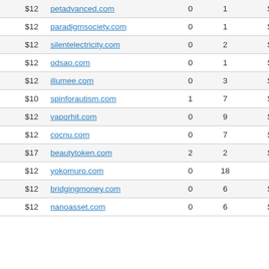| Price | Domain | Col3 | Col4 | Value | Extra |
| --- | --- | --- | --- | --- | --- |
| $12 | petadvanced.com | 0 | 1 | $1809 |  |
| $12 | paradigmsociety.com | 0 | 1 | $1380 |  |
| $12 | silentelectricity.com | 0 | 2 | $1573 |  |
| $12 | odsao.com | 0 | 1 | $1427 |  |
| $12 | illumee.com | 0 | 3 | $1638 |  |
| $10 | spinforautism.com | 1 | 7 | $1237 |  |
| $12 | vaporhit.com | 0 | 9 | $1328 |  |
| $12 | cocnu.com | 0 | 7 | $1265 |  |
| $17 | beautytoken.com | 2 | 2 | $1600 | 0 |
| $12 | yokomuro.com | 0 | 18 | $614 |  |
| $12 | bridgingmoney.com | 0 | 6 | $1553 |  |
| $12 | nanoasset.com | 0 | 6 | $1743 |  |